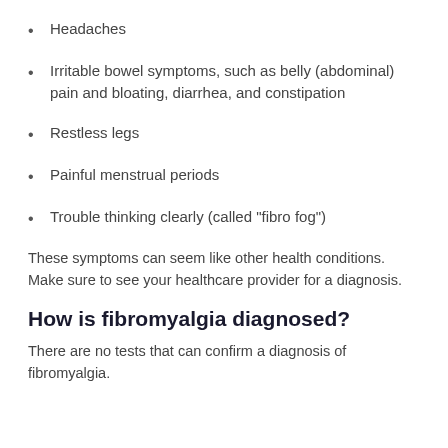Headaches
Irritable bowel symptoms, such as belly (abdominal) pain and bloating, diarrhea, and constipation
Restless legs
Painful menstrual periods
Trouble thinking clearly (called "fibro fog")
These symptoms can seem like other health conditions. Make sure to see your healthcare provider for a diagnosis.
How is fibromyalgia diagnosed?
There are no tests that can confirm a diagnosis of fibromyalgia.